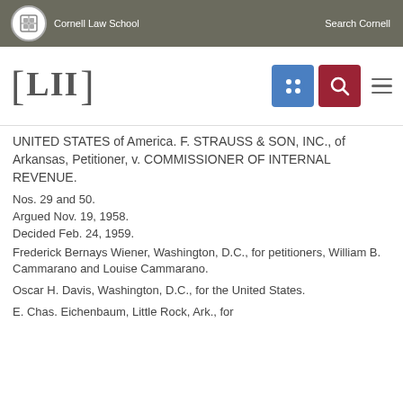Cornell Law School   Search Cornell
[Figure (logo): LII Legal Information Institute logo with navigation icons]
UNITED STATES of America. F. STRAUSS & SON, INC., of Arkansas, Petitioner, v. COMMISSIONER OF INTERNAL REVENUE.
Nos. 29 and 50.
Argued Nov. 19, 1958.
Decided Feb. 24, 1959.
Frederick Bernays Wiener, Washington, D.C., for petitioners, William B. Cammarano and Louise Cammarano.
Oscar H. Davis, Washington, D.C., for the United States.
E. Chas. Eichenbaum, Little Rock, Ark., for